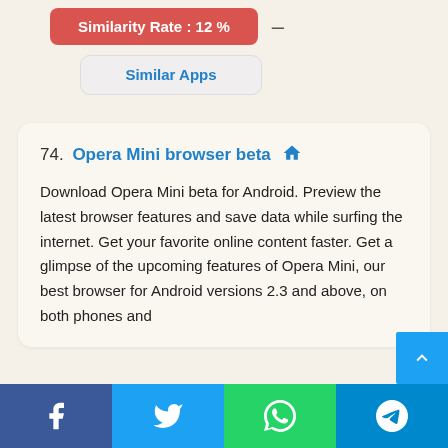[Figure (infographic): Red button showing 'Similarity Rate : 12 %' with a dash next to it]
Similar Apps
74. Opera Mini browser beta — Download Opera Mini beta for Android. Preview the latest browser features and save data while surfing the internet. Get your favorite online content faster. Get a glimpse of the upcoming features of Opera Mini, our best browser for Android versions 2.3 and above, on both phones and
Facebook | Twitter | WhatsApp | Telegram